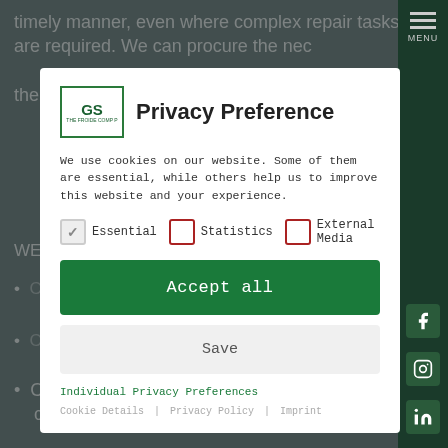timely manner, even where complex repair tasks are required. We can procure the necessary parts and materials and provide the
[Figure (screenshot): Privacy Preference modal dialog with GS logo, cookie consent checkboxes (Essential checked, Statistics and External Media unchecked), Accept all button, Save button, Individual Privacy Preferences link, and footer links for Cookie Details, Privacy Policy, and Imprint]
Checks and, if necessary, clarification of costs of complaints